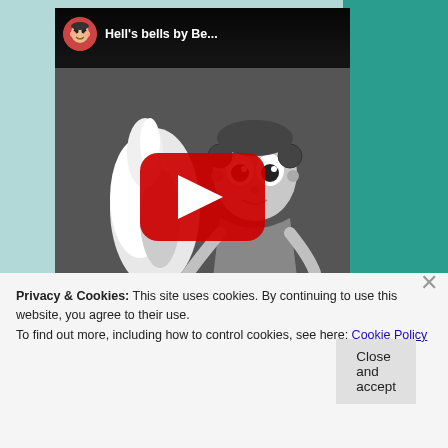[Figure (screenshot): YouTube video thumbnail showing 'Hell's bells by Be...' with Betty Boop cartoon in black and white with flames, featuring YouTube play button overlay]
Privacy & Cookies: This site uses cookies. By continuing to use this website, you agree to their use.
To find out more, including how to control cookies, see here: Cookie Policy
Close and accept